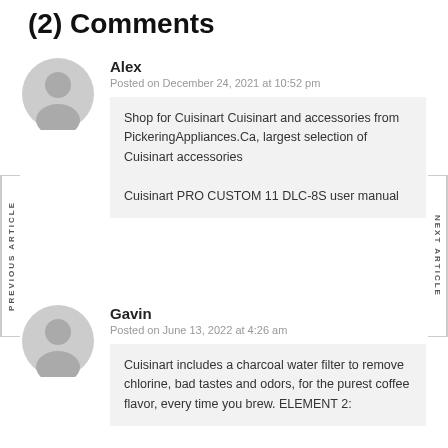(2) Comments
Alex
Posted on December 24, 2021 at 10:52 pm
Shop for Cuisinart Cuisinart and accessories from PickeringAppliances.Ca, largest selection of Cuisinart accessories
Cuisinart PRO CUSTOM 11 DLC-8S user manual
Gavin
Posted on June 13, 2022 at 4:26 am
Cuisinart includes a charcoal water filter to remove chlorine, bad tastes and odors, for the purest coffee flavor, every time you brew. ELEMENT 2: